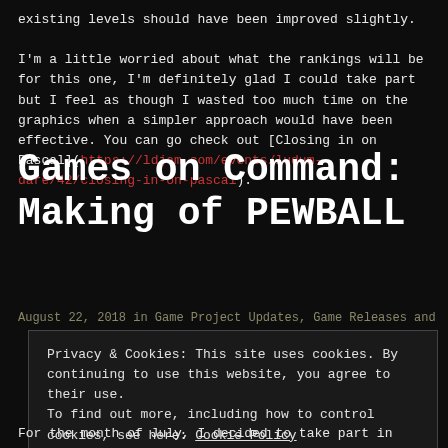existing levels should have been improved slightly.

I'm a little worried about what the rankings will be for this one, I'm definitely glad I could take part but I feel as though I wasted too much time on the graphics when a simpler approach would have been effective. You can go check out [Closing in on Pascal](https://ldjam.com/events/ludum-dare/42/closing-in-on-pascal).
Games on Command: Making of PEWBALL
August 22, 2018 in Game Project Updates, Game Releases and
Privacy & Cookies: This site uses cookies. By continuing to use this website, you agree to their use.
To find out more, including how to control cookies, see here: Cookie Policy

Close and accept
For the month of July, I decided to take part in Floppy Jam